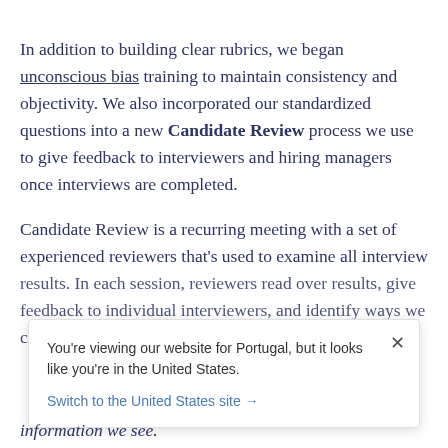In addition to building clear rubrics, we began unconscious bias training to maintain consistency and objectivity. We also incorporated our standardized questions into a new Candidate Review process we use to give feedback to interviewers and hiring managers once interviews are completed.
Candidate Review is a recurring meeting with a set of experienced reviewers that’s used to examine all interview results. In each session, reviewers read over results, give feedback to individual interviewers, and identify ways we can improve the overall process.
You’re viewing our website for Portugal, but it looks like you’re in the United States. Switch to the United States site →
information we see.